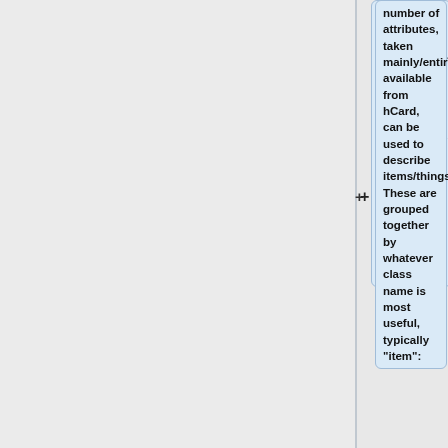number of attributes, taken mainly/entirely available from hCard, can be used to describe items/things. These are grouped together by whatever class name is most useful, typically "item":
<pre><nowiki>
<div class="item">
<span